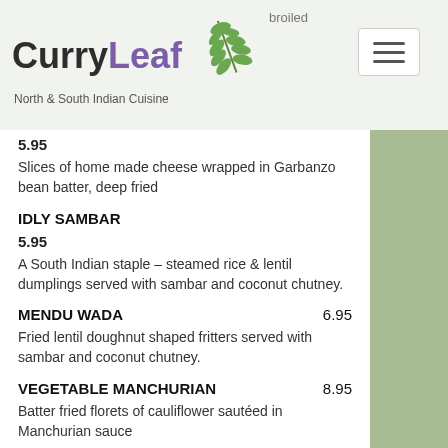[Figure (logo): Curry Leaf restaurant logo with green leaf illustration and text 'North & South Indian Cuisine']
broiled
5.95
Slices of home made cheese wrapped in Garbanzo bean batter, deep fried
IDLY SAMBAR
5.95
A South Indian staple – steamed rice & lentil dumplings served with sambar and coconut chutney.
MENDU WADA	6.95
Fried lentil doughnut shaped fritters served with sambar and coconut chutney.
VEGETABLE MANCHURIAN	8.95
Batter fried florets of cauliflower sautéed in Manchurian sauce
PANEER MANCHURIAN	8.95